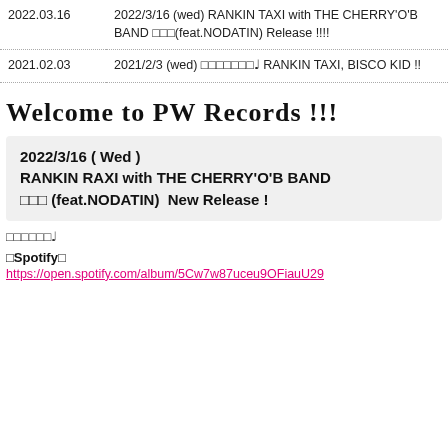| Date | Event |
| --- | --- |
| 2022.03.16 | 2022/3/16 (wed) RANKIN TAXI with THE CHERRY'O'B BAND □□□(feat.NODATIN) Release !!!! |
| 2021.02.03 | 2021/2/3 (wed) □□□□□□□♪ RANKIN TAXI, BISCO KID !! |
Welcome to PW Records !!!
2022/3/16 ( Wed )
RANKIN RAXI with THE CHERRY'O'B BAND
□□□ (feat.NODATIN)  New Release !
□□□□□□♪
□Spotify□
https://open.spotify.com/album/5Cw7w87uceu9OFiauU29